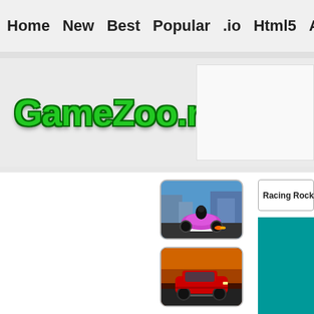Home  New  Best  Popular  .io  Html5  Action  Funny  Classic  S
[Figure (logo): GameZoo.net logo in bold green text with dark green outline on light gray background]
[Figure (photo): Motorcycle racing game thumbnail showing a rider on a purple/pink futuristic motorcycle on a city street]
[Figure (photo): Car racing game thumbnail showing a red sports car with dramatic sunset lighting]
Racing Rocket
[Figure (screenshot): Teal/turquoise colored game preview box]